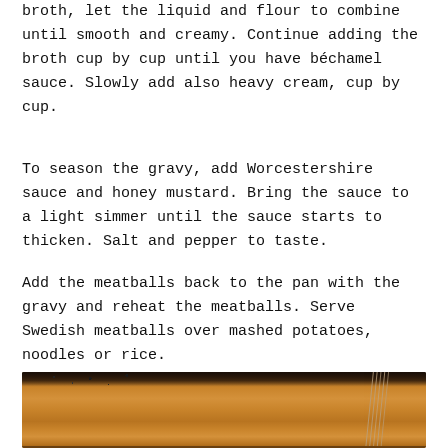broth, let the liquid and flour to combine until smooth and creamy. Continue adding the broth cup by cup until you have béchamel sauce. Slowly add also heavy cream, cup by cup.
To season the gravy, add Worcestershire sauce and honey mustard. Bring the sauce to a light simmer until the sauce starts to thicken. Salt and pepper to taste.
Add the meatballs back to the pan with the gravy and reheat the meatballs. Serve Swedish meatballs over mashed potatoes, noodles or rice.
[Figure (photo): Close-up photo of a creamy brown gravy sauce in a pan being whisked, with a whisk visible in the lower right corner and some dark speckles in the upper portion suggesting a cast iron pan edge.]